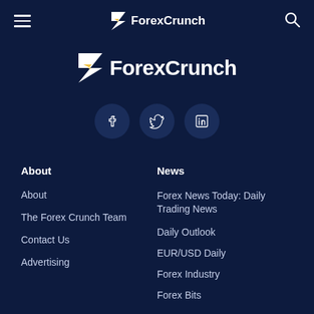ForexCrunch
[Figure (logo): ForexCrunch logo with F icon and text ForexCrunch]
[Figure (infographic): Social media icons: Facebook, Twitter, LinkedIn in dark circular buttons]
About
About
The Forex Crunch Team
Contact Us
Advertising
News
Forex News Today: Daily Trading News
Daily Outlook
EUR/USD Daily
Forex Industry
Forex Bits